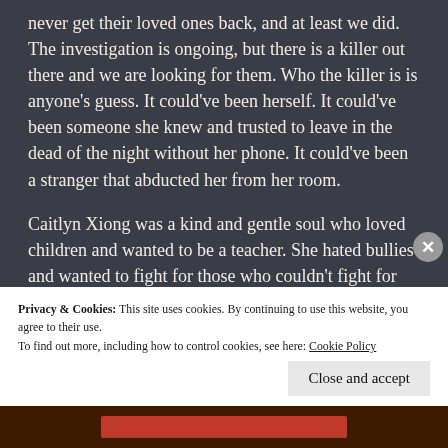never get their loved ones back, and at least we did. The investigation is ongoing, but there is a killer out there and we are looking for them. Who the killer is is anyone's guess. It could've been herself. It could've been someone she knew and trusted to leave in the dead of the night without her phone. It could've been a stranger that abducted her from her room.
Caitlyn Xiong was a kind and gentle soul who loved children and wanted to be a teacher. She hated bullies and wanted to fight for those who couldn't fight for themselves. She was an underdog and rooted for
Privacy & Cookies: This site uses cookies. By continuing to use this website, you agree to their use.
To find out more, including how to control cookies, see here: Cookie Policy